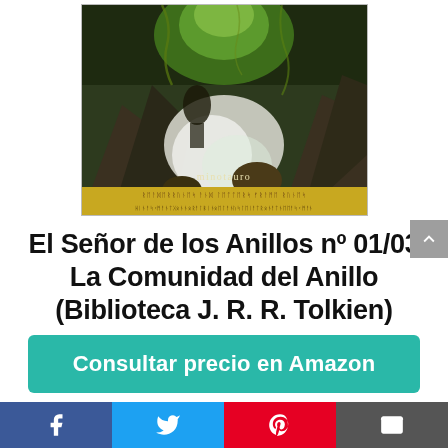[Figure (illustration): Book cover of El Señor de los Anillos - La Comunidad del Anillo, Minotauro edition, showing a dramatic fantasy painting with a figure, rocks, and swirling green and white elements, with a runic/decorative yellow band at the bottom.]
El Señor de los Anillos nº 01/03 La Comunidad del Anillo (Biblioteca J. R. R. Tolkien)
Consultar precio en Amazon
Amazon.es